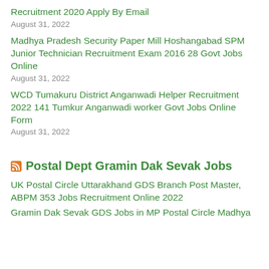Recruitment 2020 Apply By Email
August 31, 2022
Madhya Pradesh Security Paper Mill Hoshangabad SPM Junior Technician Recruitment Exam 2016 28 Govt Jobs Online
August 31, 2022
WCD Tumakuru District Anganwadi Helper Recruitment 2022 141 Tumkur Anganwadi worker Govt Jobs Online Form
August 31, 2022
Postal Dept Gramin Dak Sevak Jobs
UK Postal Circle Uttarakhand GDS Branch Post Master, ABPM 353 Jobs Recruitment Online 2022
Gramin Dak Sevak GDS Jobs in MP Postal Circle Madhya